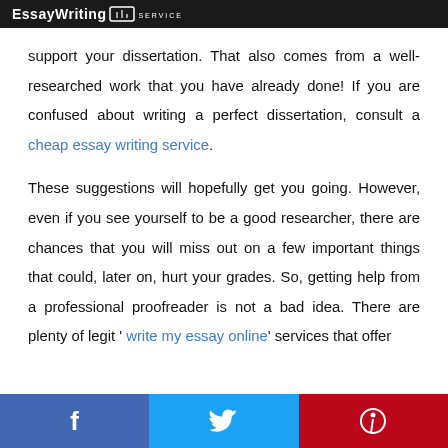EssayWriting SERVICE
support your dissertation. That also comes from a well-researched work that you have already done! If you are confused about writing a perfect dissertation, consult a cheap essay writing service.
These suggestions will hopefully get you going. However, even if you see yourself to be a good researcher, there are chances that you will miss out on a few important things that could, later on, hurt your grades. So, getting help from a professional proofreader is not a bad idea. There are plenty of legit ' write my essay online' services that offer
f  Twitter  Pinterest